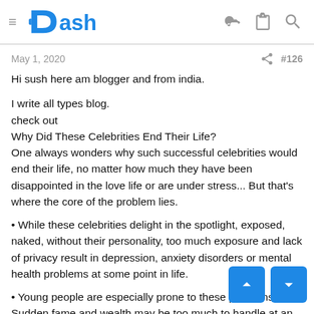≡ Dash
May 1, 2020   < #126
Hi sush here am blogger and from india.
I write all types blog.
check out
Why Did These Celebrities End Their Life?
One always wonders why such successful celebrities would end their life, no matter how much they have been disappointed in the love life or are under stress... But that's where the core of the problem lies.
While these celebrities delight in the spotlight, exposed, naked, without their personality, too much exposure and lack of privacy result in depression, anxiety disorders or mental health problems at some point in life.
Young people are especially prone to these problems. Sudden fame and wealth may be too much to handle at an early a…